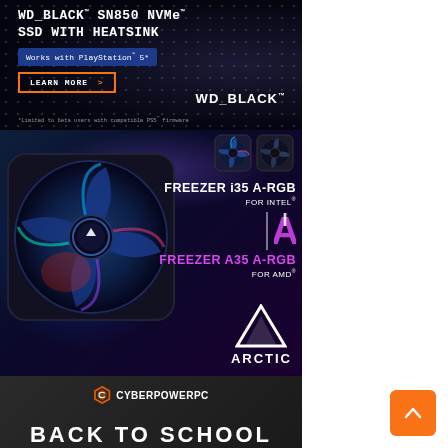[Figure (photo): WD_BLACK SN850 NVMe SSD with Heatsink advertisement on dark background with dot pattern. Text: WD_BLACK SN850 NVMe SSD WITH HEATSINK. Badge: Works with PlayStation 5*. Button: LEARN MORE >. Logo: WD_BLACK. Fine print: *Limited to beta users with compatible PS5 firmware]
[Figure (photo): ARCTIC CPU cooler advertisement showing FREEZER i35 A-RGB for Intel and FREEZER A35 A-RGB for AMD with large fan and RGB lighting on dark blue/purple background with ARCTIC logo triangle]
[Figure (photo): CyberPowerPC advertisement with logo and BACK TO SCHOOL text on dark gradient background]
[Figure (other): Orange scroll-to-top button with upward chevron arrow in bottom right corner]